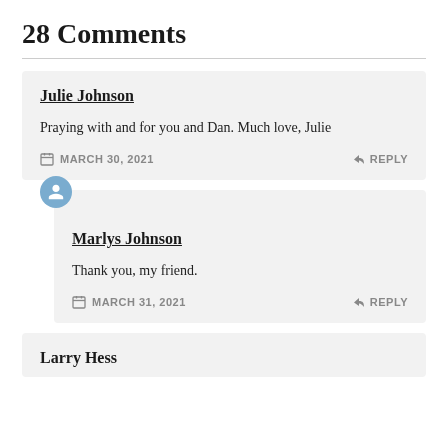28 Comments
Julie Johnson
Praying with and for you and Dan. Much love, Julie
MARCH 30, 2021   REPLY
Marlys Johnson
Thank you, my friend.
MARCH 31, 2021   REPLY
Larry Hess